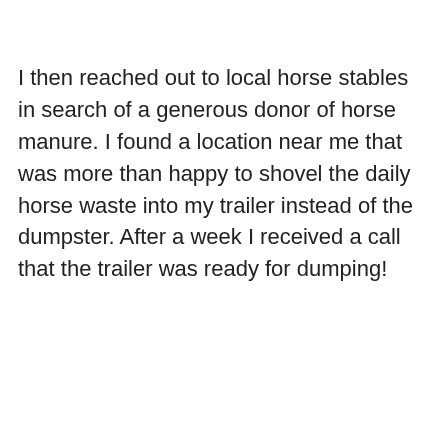I then reached out to local horse stables in search of a generous donor of horse manure. I found a location near me that was more than happy to shovel the daily horse waste into my trailer instead of the dumpster. After a week I received a call that the trailer was ready for dumping!